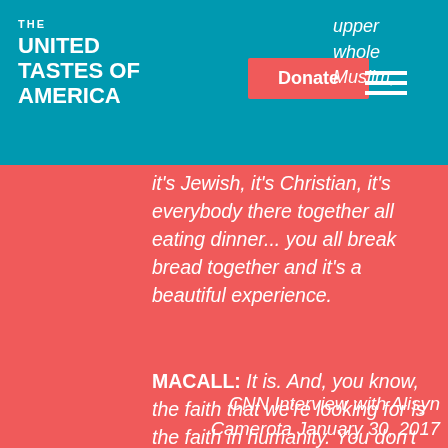THE UNITED TASTES OF AMERICA
upper whole Muslim, it's Jewish, it's Christian, it's everybody there together all eating dinner... you all break bread together and it's a beautiful experience.
MACALL: It is. And, you know, the faith that we're looking for is the faith in humanity. You don't need to subscribe to any particular religion to join and participate in our events. We're looking for people to connect.
CNN Interview with Alisyn Camerota January 30, 2017